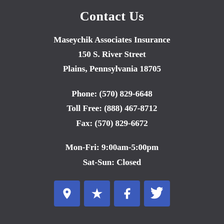Contact Us
Maseychik Associates Insurance
150 S. River Street
Plains, Pennsylvania 18705
Phone: (570) 829-6648
Toll Free: (888) 467-8712
Fax: (570) 829-6672
Mon-Fri: 9:00am-5:00pm
Sat-Sun: Closed
[Figure (infographic): Four social media icon buttons in blue squares: map pin (Google Maps/Yelp location), Yelp star, Facebook, Twitter]